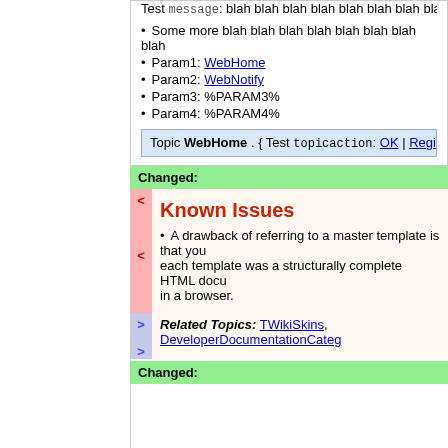Test message: blah blah blah blah blah blah blah blah bla
Some more blah blah blah blah blah blah blah blah
Param1: WebHome
Param2: WebNotify
Param3: %PARAM3%
Param4: %PARAM4%
Topic WebHome . { Test topicaction: OK | Register }
Changed:
Known Issues
A drawback of referring to a master template is that you each template was a structurally complete HTML docu in a browser.
Related Topics: TWikiSkins, DeveloperDocumentationCateg
Changed: